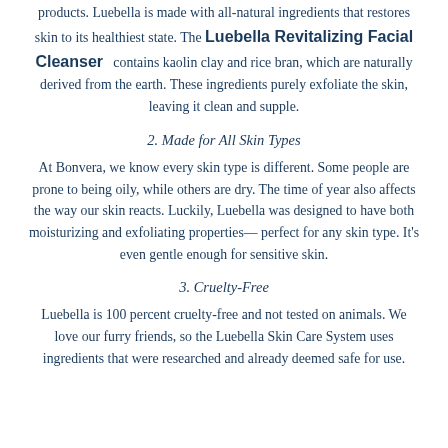products. Luebella is made with all-natural ingredients that restores skin to its healthiest state. The Luebella Revitalizing Facial Cleanser contains kaolin clay and rice bran, which are naturally derived from the earth. These ingredients purely exfoliate the skin, leaving it clean and supple.
2. Made for All Skin Types
At Bonvera, we know every skin type is different. Some people are prone to being oily, while others are dry. The time of year also affects the way our skin reacts. Luckily, Luebella was designed to have both moisturizing and exfoliating properties— perfect for any skin type. It's even gentle enough for sensitive skin.
3. Cruelty-Free
Luebella is 100 percent cruelty-free and not tested on animals. We love our furry friends, so the Luebella Skin Care System uses ingredients that were researched and already deemed safe for use.